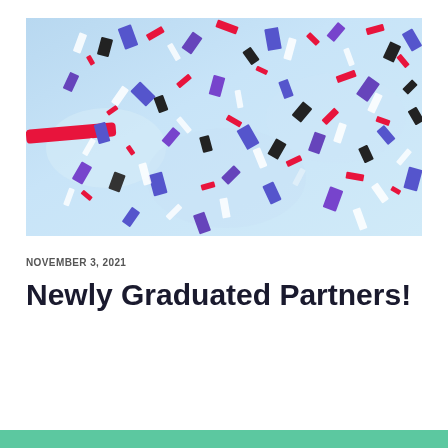[Figure (photo): Colorful confetti (red, blue/purple, black, white) falling against a light blue background, celebration scene]
NOVEMBER 3, 2021
Newly Graduated Partners!